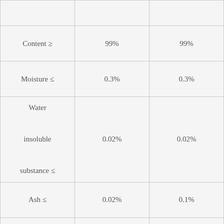| Property | Value 1 | Value 2 |
| --- | --- | --- |
| Content ≥ | 99% | 99% |
| Moisture ≤ | 0.3% | 0.3% |
| Water insoluble substance ≤ | 0.02% | 0.02% |
| Ash ≤ | 0.02% | 0.1% |
| Water solubility test | Clear colorless | Clear colorless |
| PH value (4% |  |  |